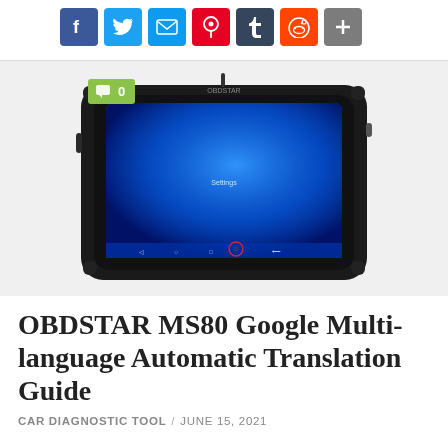[Figure (other): Social media sharing icons row: Facebook, Twitter, Mail, Pinterest, Tumblr, Reddit, Share/Plus buttons]
[Figure (photo): OBDSTAR MS80 diagnostic tablet device with black rugged case, blue screen showing Android interface, with a green comment badge showing '0' overlaid in top-left]
OBDSTAR MS80 Google Multi-language Automatic Translation Guide
CAR DIAGNOSTIC TOOL / JUNE 15, 2021